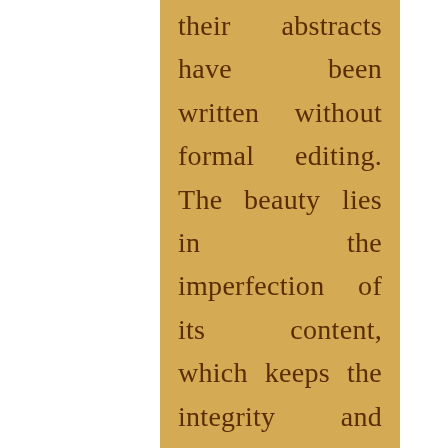their abstracts have been written without formal editing. The beauty lies in the imperfection of its content, which keeps the integrity and original intent intact as the abstract is